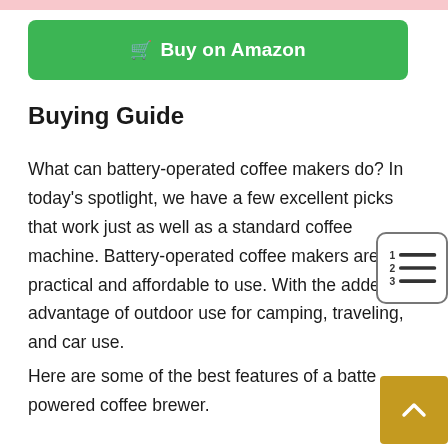[Figure (other): Pink horizontal bar at top of page]
[Figure (other): Green 'Buy on Amazon' button with shopping cart icon]
Buying Guide
What can battery-operated coffee makers do? In today's spotlight, we have a few excellent picks that work just as well as a standard coffee machine. Battery-operated coffee makers are practical and affordable to use. With the added advantage of outdoor use for camping, traveling, and car use.
Here are some of the best features of a battery-powered coffee brewer.